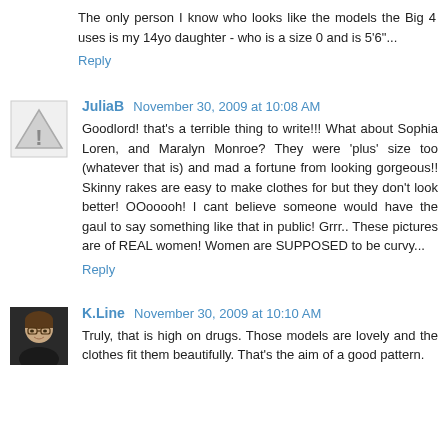The only person I know who looks like the models the Big 4 uses is my 14yo daughter - who is a size 0 and is 5'6"...
Reply
JuliaB November 30, 2009 at 10:08 AM
Goodlord! that's a terrible thing to write!!! What about Sophia Loren, and Maralyn Monroe? They were 'plus' size too (whatever that is) and mad a fortune from looking gorgeous!! Skinny rakes are easy to make clothes for but they don't look better! OOooooh! I cant believe someone would have the gaul to say something like that in public! Grrr.. These pictures are of REAL women! Women are SUPPOSED to be curvy...
Reply
K.Line November 30, 2009 at 10:10 AM
Truly, that is high on drugs. Those models are lovely and the clothes fit them beautifully. That's the aim of a good pattern.